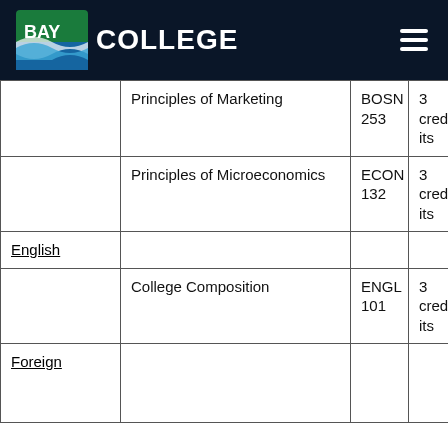BAY COLLEGE
| Category | Course Name | Code | Credits |
| --- | --- | --- | --- |
|  | Principles of Marketing | BOSN 253 | 3 credits |
|  | Principles of Microeconomics | ECON 132 | 3 credits |
| English |  |  |  |
|  | College Composition | ENGL 101 | 3 credits |
| Foreign |  |  |  |